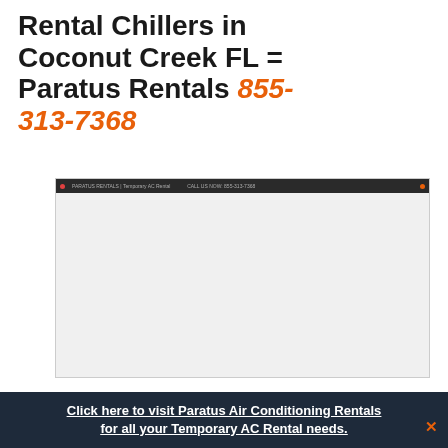Rental Chillers in Coconut Creek FL = Paratus Rentals 855-313-7368
[Figure (screenshot): Screenshot of a webpage with a dark navigation bar and light grey content area, showing a Paratus Rentals website]
Click here to visit Paratus Air Conditioning Rentals for all your Temporary AC Rental needs.